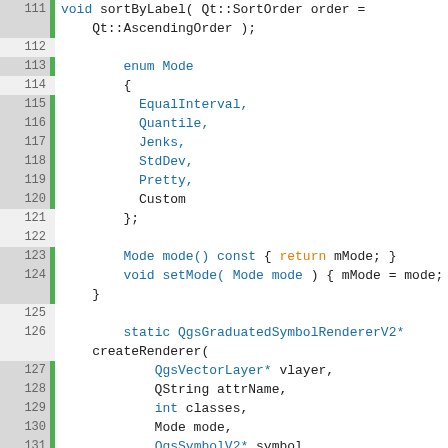[Figure (screenshot): Source code viewer showing C++ class definition lines 111-142, with line numbers, green gutter indicators, and syntax highlighting in blue, orange, and black on white/grey background.]